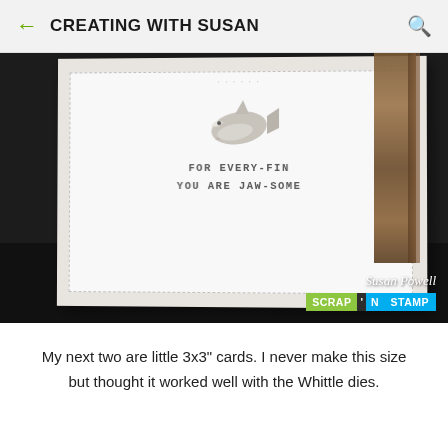CREATING WITH SUSAN
[Figure (photo): A handmade card on a dark surface featuring a whale shark die cut and the stamped text 'FOR EVERY-FIN YOU ARE JAW-SOME', with a Scrap N Stamp watermark logo in the lower right corner.]
My next two are little 3x3" cards. I never make this size but thought it worked well with the Whittle dies.